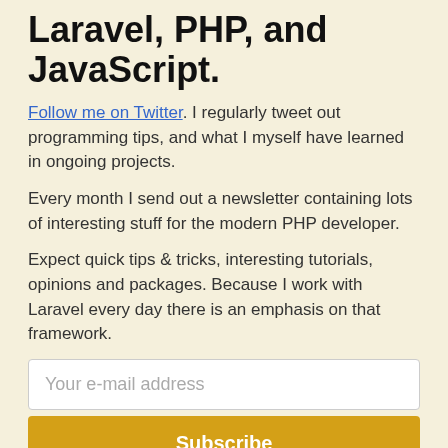Laravel, PHP, and JavaScript.
Follow me on Twitter. I regularly tweet out programming tips, and what I myself have learned in ongoing projects.
Every month I send out a newsletter containing lots of interesting stuff for the modern PHP developer.
Expect quick tips & tricks, interesting tutorials, opinions and packages. Because I work with Laravel every day there is an emphasis on that framework.
Your e-mail address
Subscribe
Rest assured that I will only use your email address to send you the newsletter and will not use it for any other